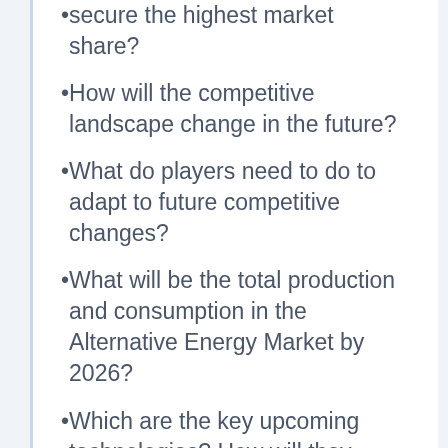secure the highest market share?
How will the competitive landscape change in the future?
What do players need to do to adapt to future competitive changes?
What will be the total production and consumption in the Alternative Energy Market by 2026?
Which are the key upcoming technologies? How will they impact the Alternative Energy Market?
Which product segment is expected to show the highest CAGR?
Which application is forecast to gain the